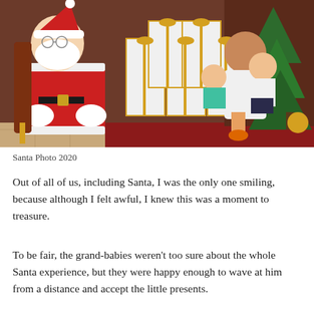[Figure (photo): A Christmas photo showing Santa Claus seated on a golden throne chair with a red rug, surrounded by large white gift boxes with gold bows. A woman in white sits beside him holding two young children, one in a teal shirt and one in a white top with a dark skirt. A Christmas tree is visible in the background.]
Santa Photo 2020
Out of all of us, including Santa, I was the only one smiling, because although I felt awful, I knew this was a moment to treasure.
To be fair, the grand-babies weren't too sure about the whole Santa experience, but they were happy enough to wave at him from a distance and accept the little presents.